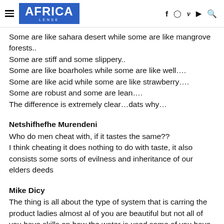AFRICA LENSE
Some are like sahara desert while some are like mangrove forests..
Some are stiff and some slippery..
Some are like boarholes while some are like well….
Some are like acid while some are like strawberry….
Some are robust and some are lean….
The difference is extremely clear…dats why…
Netshifhefhe Murendeni
Who do men cheat with, if it tastes the same??
I think cheating it does nothing to do with taste, it also consists some sorts of evilness and inheritance of our elders deeds
Mike Dicy
The thing is all about the type of system that is carring the product ladies almost al of you are beautiful but not all of you have skills on how the water is used some of you have